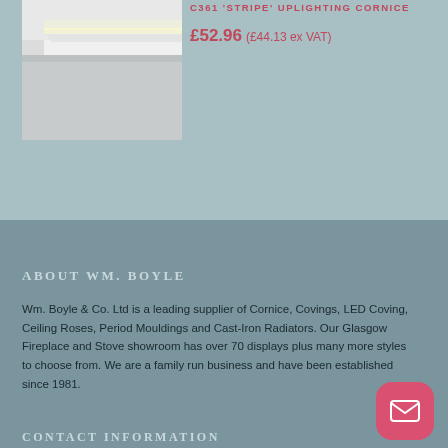[Figure (photo): Photo of a white stripe uplighting cornice installed at ceiling junction, showing LED light effect]
C361 'STRIPE' UPLIGHTING CORNICE
£52.96 (£44.13 ex VAT)
ABOUT WM. BOYLE
Wm. Boyle & Co. Ltd is a leading supplier of Cornice, Covings, LED Coving, Ceiling Roses, Period Mouldings and Cast-Iron Radiators. Our Glasgow Fireplace and Stove showroom has over 70 displays plus many more styles to choose from. We are a family run business and have been established since 1981.
CONTACT INFORMATION